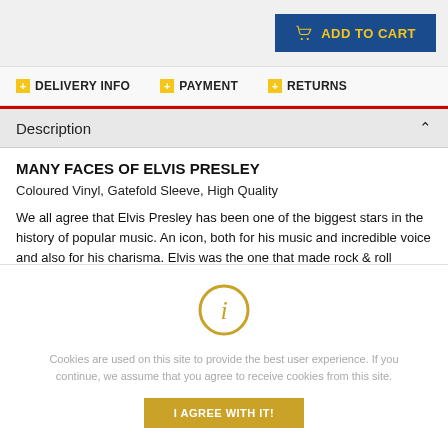[Figure (screenshot): Add to cart button with shopping basket icon on dark blue background with yellow text]
DELIVERY INFO   PAYMENT   RETURNS
Description
MANY FACES OF ELVIS PRESLEY
Coloured Vinyl, Gatefold Sleeve, High Quality
We all agree that Elvis Presley has been one of the biggest stars in the history of popular music. An icon, both for his music and incredible voice and also for his charisma. Elvis was the one that made rock & roll
Cookies are used on this site to provide the best user experience. If you continue, we assume that you agree to receive cookies from this site.